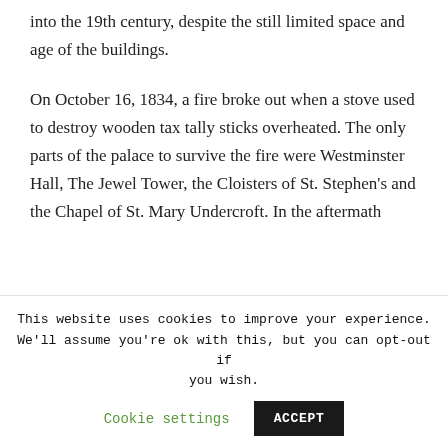into the 19th century, despite the still limited space and age of the buildings.
On October 16, 1834, a fire broke out when a stove used to destroy wooden tax tally sticks overheated. The only parts of the palace to survive the fire were Westminster Hall, The Jewel Tower, the Cloisters of St. Stephen's and the Chapel of St. Mary Undercroft. In the aftermath
This website uses cookies to improve your experience. We'll assume you're ok with this, but you can opt-out if you wish. Cookie settings ACCEPT